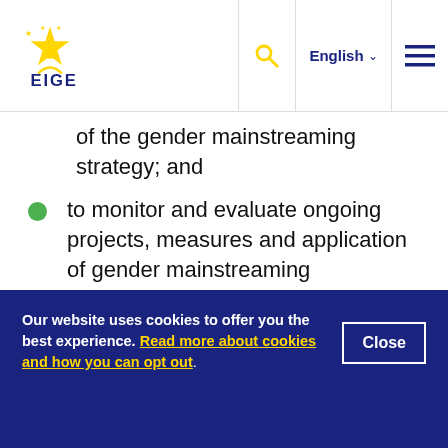EIGE — European Institute for Gender Equality | English
of the gender mainstreaming strategy; and
to monitor and evaluate ongoing projects, measures and application of gender mainstreaming objectives.
Members are termed 'GM agents' (GM Beauftragte) and are appointed within the ministries and supreme organs (Constitutional Court, Supreme Administrative Court, Court of Auditors, Ombudsman Board and Parliamentary
Our website uses cookies to offer you the best experience. Read more about cookies and how you can opt out.